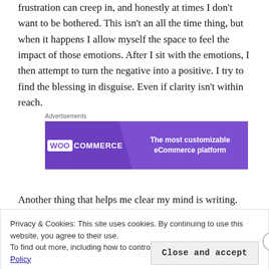frustration can creep in, and honestly at times I don't want to be bothered. This isn't an all the time thing, but when it happens I allow myself the space to feel the impact of those emotions. After I sit with the emotions, I then attempt to turn the negative into a positive. I try to find the blessing in disguise. Even if clarity isn't within reach.
[Figure (other): WooCommerce advertisement banner — purple background, WOO COMMERCE logo on left, text 'The most customizable eCommerce platform' on right]
Another thing that helps me clear my mind is writing.
Privacy & Cookies: This site uses cookies. By continuing to use this website, you agree to their use.
To find out more, including how to control cookies, see here: Cookie Policy